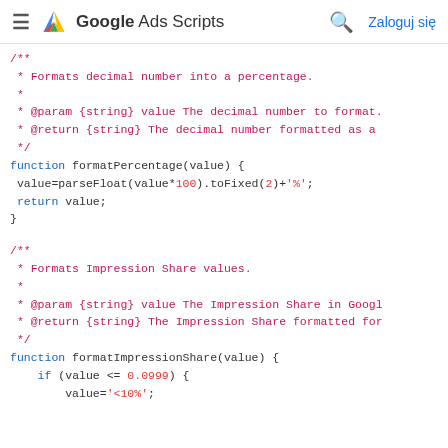Google Ads Scripts  Zaloguj się
/** * Formats decimal number into a percentage. * * @param {string} value The decimal number to format. * @return {string} The decimal number formatted as a */ function formatPercentage(value) { value=parseFloat(value*100).toFixed(2)+'%'; return value; }
/** * Formats Impression Share values. * * @param {string} value The Impression Share in Google * @return {string} The Impression Share formatted for */ function formatImpressionShare(value) { if (value <= 0.0999) { value='<10%';